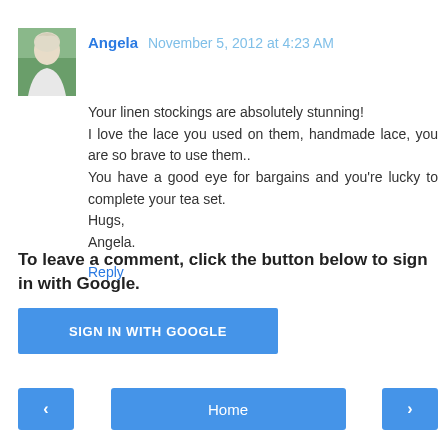Angela November 5, 2012 at 4:23 AM
Your linen stockings are absolutely stunning!
I love the lace you used on them, handmade lace, you are so brave to use them..
You have a good eye for bargains and you're lucky to complete your tea set.
Hugs,
Angela.
Reply
To leave a comment, click the button below to sign in with Google.
SIGN IN WITH GOOGLE
< Home >